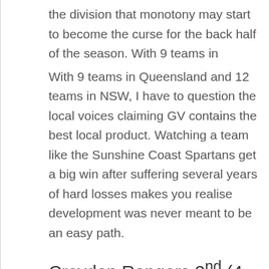the division that monotony may start to become the curse for the back half of the season. With 9 teams in
With 9 teams in Queensland and 12 teams in NSW, I have to question the local voices claiming GV contains the best local product. Watching a team like the Sunshine Coast Spartans get a big win after suffering several years of hard losses makes you realise development was never meant to be an easy path.
Croydon Rangers 2nd (4 – 1) vs. Western Crusaders 1st (5 – 0)
Last Time: Crusaders won 32 – 13
Now that all teams have played each other, these